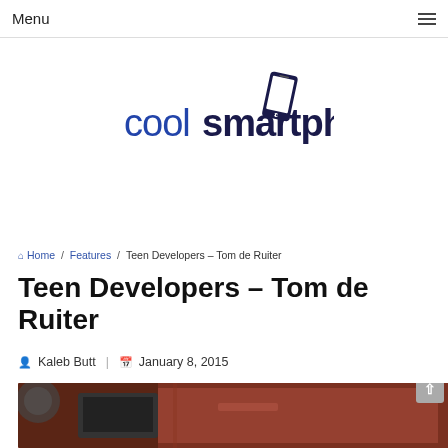Menu
[Figure (logo): coolsmartphone logo with smartphone icon]
Home / Features / Teen Developers – Tom de Ruiter
Teen Developers – Tom de Ruiter
Kaleb Butt | January 8, 2015
[Figure (photo): Photo showing tech equipment with red background, partially visible]